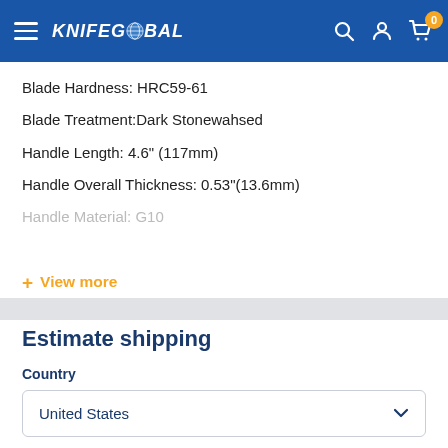KNIFEGLOBAL — navigation header with hamburger menu, logo, search, account, and cart icons
Blade Hardness: HRC59-61
Blade Treatment:Dark Stonewahsed
Handle Length: 4.6" (117mm)
Handle Overall Thickness: 0.53"(13.6mm)
Handle Material: G10
+ View more
Estimate shipping
Country
United States